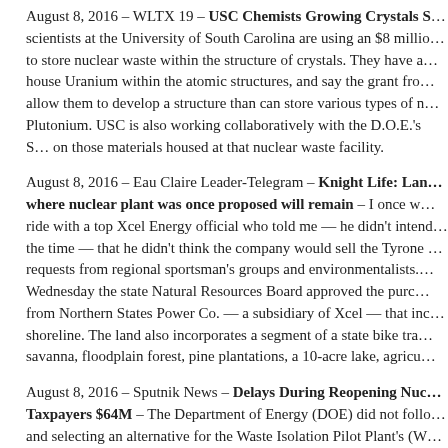August 8, 2016 – WLTX 19 – USC Chemists Growing Crystals S… scientists at the University of South Carolina are using an $8 million to store nuclear waste within the structure of crystals. They have already house Uranium within the atomic structures, and say the grant from allow them to develop a structure than can store various types of n… Plutonium. USC is also working collaboratively with the D.O.E.'s S… on those materials housed at that nuclear waste facility.
August 8, 2016 – Eau Claire Leader-Telegram – Knight Life: Land… where nuclear plant was once proposed will remain – I once w… ride with a top Xcel Energy official who told me — he didn't intend the time — that he didn't think the company would sell the Tyrone … requests from regional sportsman's groups and environmentalists. Wednesday the state Natural Resources Board approved the purc… from Northern States Power Co. — a subsidiary of Xcel — that inc… shoreline. The land also incorporates a segment of a state bike tra… savanna, floodplain forest, pine plantations, a 10-acre lake, agricu…
August 8, 2016 – Sputnik News – Delays During Reopening Nuc… Taxpayers $64M – The Department of Energy (DOE) did not follow and selecting an alternative for the Waste Isolation Pilot Plant's (W…